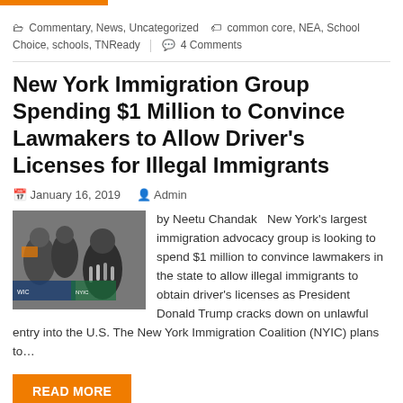Commentary, News, Uncategorized   common core, NEA, School Choice, schools, TNReady   4 Comments
New York Immigration Group Spending $1 Million to Convince Lawmakers to Allow Driver's Licenses for Illegal Immigrants
January 16, 2019   Admin
[Figure (photo): Photo of a man speaking at a press conference with microphones, with other people in the background]
by Neetu Chandak   New York's largest immigration advocacy group is looking to spend $1 million to convince lawmakers in the state to allow illegal immigrants to obtain driver's licenses as President Donald Trump cracks down on unlawful entry into the U.S. The New York Immigration Coalition (NYIC) plans to…
READ MORE
News, Uncategorized   Illegal Immigrants, New York, New York